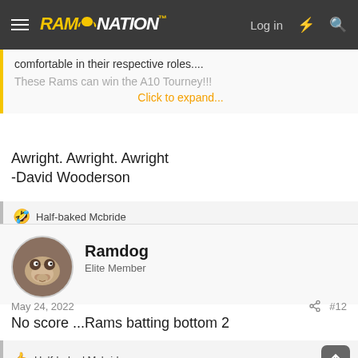RAM NATION — Log in
comfortable in their respective roles....
These Rams can win the A10 Tourney!!!
Click to expand...
Awright. Awright. Awright
-David Wooderson
🤣 Half-baked Mcbride
Ramdog
Elite Member
May 24, 2022  #12
No score ...Rams batting bottom 2
👍 Half-baked Mcbride